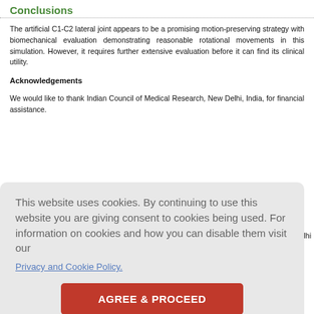Conclusions
The artificial C1-C2 lateral joint appears to be a promising motion-preserving strategy with biomechanical evaluation demonstrating reasonable rotational movements in this simulation. However, it requires further extensive evaluation before it can find its clinical utility.
Acknowledgements
We would like to thank Indian Council of Medical Research, New Delhi, India, for financial assistance.
[Figure (screenshot): Cookie consent overlay with text: 'This website uses cookies. By continuing to use this website you are giving consent to cookies being used. For information on cookies and how you can disable them visit our Privacy and Cookie Policy.' and a red button labeled 'AGREE & PROCEED']
, New Delhi
References